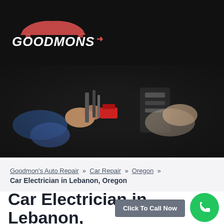GOODMONS
[Figure (photo): Mechanic hands working on a car engine, dark background]
Goodmon's Auto Repair » Car Repair » Oregon » Car Electrician in Lebanon, Oregon
Car Electrician in Lebanon, Oregon
Click To Call Now